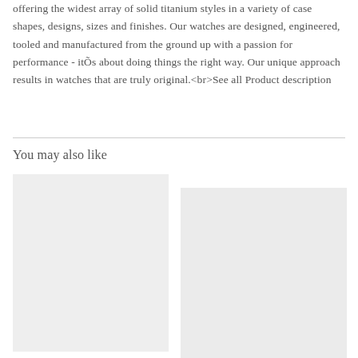offering the widest array of solid titanium styles in a variety of case shapes, designs, sizes and finishes. Our watches are designed, engineered, tooled and manufactured from the ground up with a passion for performance - itÕs about doing things the right way. Our unique approach results in watches that are truly original.<br>See all Product description
You may also like
[Figure (photo): Light gray placeholder image block on the left side]
[Figure (photo): Light gray placeholder image block on the right side, slightly lower]